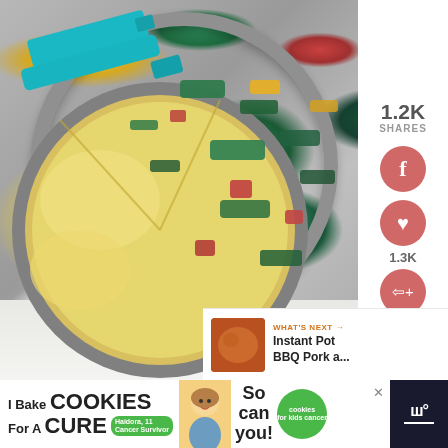[Figure (photo): A frittata in a round dark metal pan, with a teal spatula lifting a slice. The frittata contains spinach/kale, red/orange peppers, ham or bacon pieces, and melted yellow cheese. The pan sits on a white cloth. Social sharing sidebar on the right showing 1.2K shares, Facebook button, heart/save button showing 1.3K, and a share button.]
1.2K
SHARES
1.3K
WHAT'S NEXT → Instant Pot BBQ Pork a...
[Figure (photo): Advertisement banner: 'I Bake COOKIES For A CURE' with a photo of a smiling girl, text 'So can you!' and a green 'cookies for kids cancer' button. Dark background on right side with Walmart logo.]